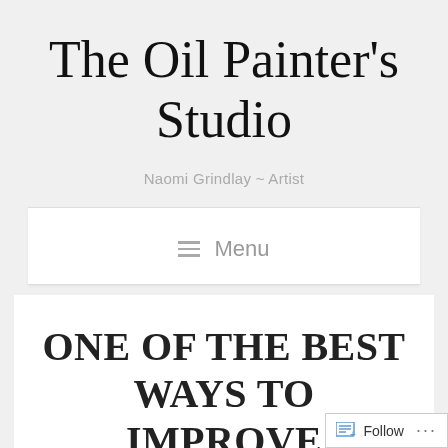The Oil Painter's Studio
Naomi Grindlay ~ Artist
≡ Menu
ONE OF THE BEST WAYS TO IMPROVE